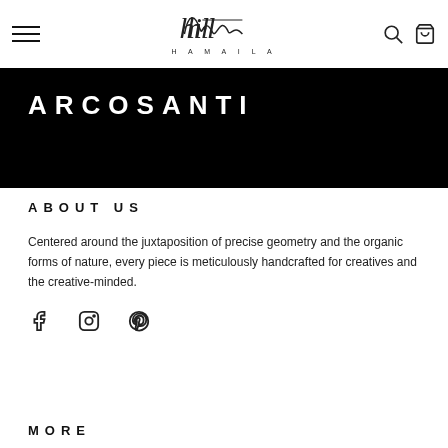HAMAILA navigation header with hamburger menu, logo, search and cart icons
ARCOSANTI
ABOUT US
Centered around the juxtaposition of precise geometry and the organic forms of nature, every piece is meticulously handcrafted for creatives and the creative-minded.
[Figure (illustration): Social media icons: Facebook, Instagram, Pinterest]
MORE